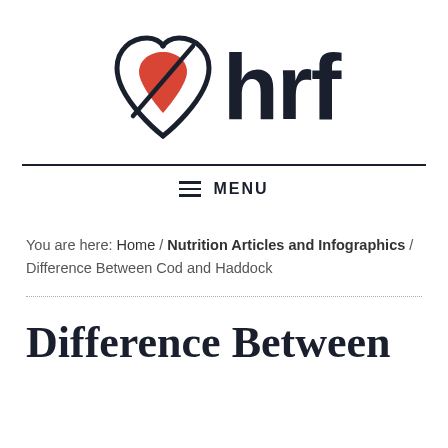[Figure (logo): HRF logo: heart/teardrop icon with red drop inside on left, bold 'hrf' text on right in dark navy]
MENU
You are here: Home / Nutrition Articles and Infographics / Difference Between Cod and Haddock
Difference Between